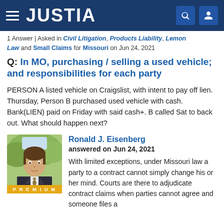JUSTIA
1 Answer | Asked in Civil Litigation, Products Liability, Lemon Law and Small Claims for Missouri on Jun 24, 2021
Q: In MO, purchasing / selling a used vehicle; and responsibilities for each party
PERSON A listed vehicle on Craigslist, with intent to pay off lien. Thursday, Person B purchased used vehicle with cash. Bank(LIEN) paid on Friday with said cash+. B called Sat to back out. What should happen next?
Ronald J. Eisenberg
answered on Jun 24, 2021
With limited exceptions, under Missouri law a party to a contract cannot simply change his or her mind. Courts are there to adjudicate contract claims when parties cannot agree and someone files a